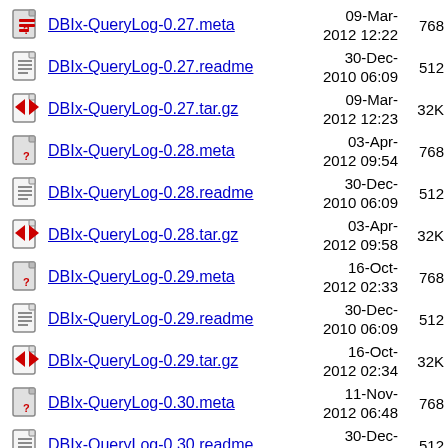DBIx-QueryLog-0.27.meta  09-Mar-2012 12:22  768
DBIx-QueryLog-0.27.readme  30-Dec-2010 06:09  512
DBIx-QueryLog-0.27.tar.gz  09-Mar-2012 12:23  32K
DBIx-QueryLog-0.28.meta  03-Apr-2012 09:54  768
DBIx-QueryLog-0.28.readme  30-Dec-2010 06:09  512
DBIx-QueryLog-0.28.tar.gz  03-Apr-2012 09:58  32K
DBIx-QueryLog-0.29.meta  16-Oct-2012 02:33  768
DBIx-QueryLog-0.29.readme  30-Dec-2010 06:09  512
DBIx-QueryLog-0.29.tar.gz  16-Oct-2012 02:34  32K
DBIx-QueryLog-0.30.meta  11-Nov-2012 06:48  768
DBIx-QueryLog-0.30.readme  30-Dec-2010 06:09  512